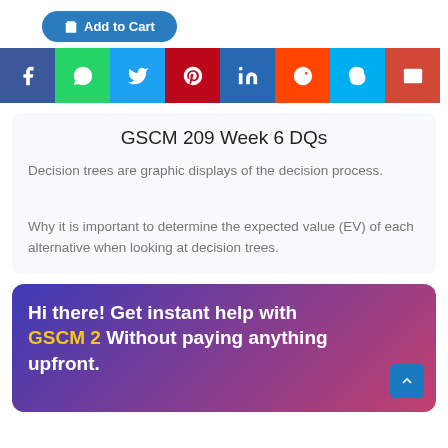[Figure (other): Add to Cart button (blue rounded)]
[Figure (other): Social sharing icons row: Facebook, WhatsApp, Twitter, Pinterest, LinkedIn, Reddit, Skype, Email]
GSCM 209 Week 6 DQs
Decision trees are graphic displays of the decision process.
Why it is important to determine the expected value (EV) of each alternative when looking at decision trees.
[Figure (other): Promotional banner: Hi there! Get instant help with GSCM 2 Without paying anything upfront.]